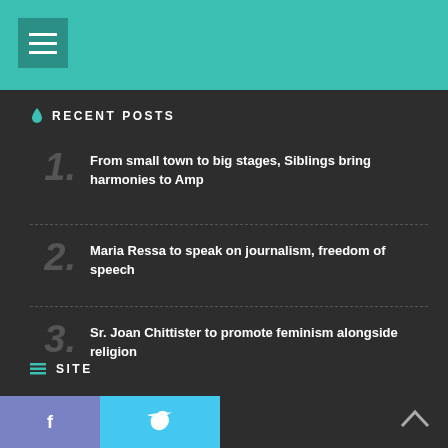RECENT POSTS
From small town to big stages, Siblings bring harmonies to Amp
Maria Ressa to speak on journalism, freedom of speech
Sr. Joan Chittister to promote feminism alongside religion
SITE
ADVERTISE
f  Twitter